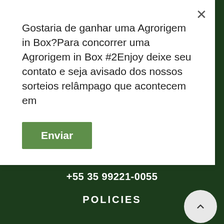Gostaria de ganhar uma Agrorigem in Box?Para concorrer uma Agrorigem in Box #2Enjoy deixe seu contato e seja avisado dos nossos sorteios relâmpago que acontecem em
Enviar
+55 35 99221-0055
POLICIES
Terms And Conditions
Privacy Policy
Exchanges And Returns
Funrural
Contactus